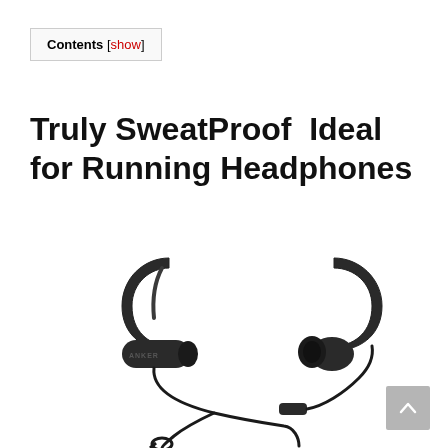Contents [show]
Truly SweatProof  Ideal for Running Headphones
[Figure (photo): Anker brand black Bluetooth sport earphones with ear hooks and cable, shown on white background]